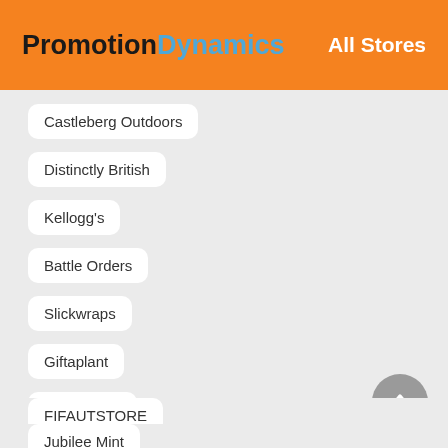PromotionDynamics — All Stores
Castleberg Outdoors
Distinctly British
Kellogg's
Battle Orders
Slickwraps
Giftaplant
Printerbase
FIFAUTSTORE
Jubilee Mint